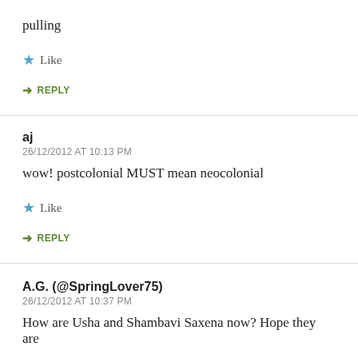pulling
★ Like
↳ REPLY
aj
26/12/2012 AT 10:13 PM
wow! postcolonial MUST mean neocolonial
★ Like
↳ REPLY
A.G. (@SpringLover75)
26/12/2012 AT 10:37 PM
How are Usha and Shambavi Saxena now? Hope they are